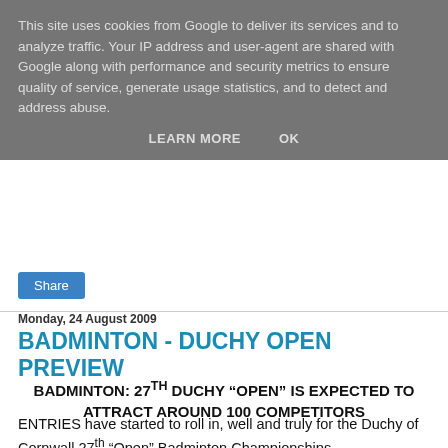This site uses cookies from Google to deliver its services and to analyze traffic. Your IP address and user-agent are shared with Google along with performance and security metrics to ensure quality of service, generate usage statistics, and to detect and address abuse.
LEARN MORE   OK
Share
Monday, 24 August 2009
BADMINTON - DUCHY OPEN PREVIEW
BADMINTON: 27TH DUCHY “OPEN” IS EXPECTED TO ATTRACT AROUND 100 COMPETITORS
ENTRIES have started to roll in, well and truly for the Duchy of Cornwall 27th “Open” Badminton Championships